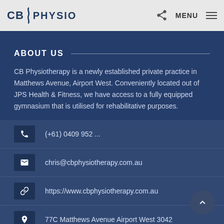[Figure (logo): CB Physio logo with stylized spine divider between CB and PHYSIO text]
MENU
ABOUT US
CB Physiotherapy is a newly established private practice in Matthews Avenue, Airport West. Conveniently located out of JPS Health & Fitness, we have access to a fully equipped gymnasium that is utilised for rehabilitative purposes.
(+61) 0409 952 ...
chris@cbphysiotherapy.com.au
https://www.cbphysiotherapy.com.au
77C Matthews Avenue Airport West 3042